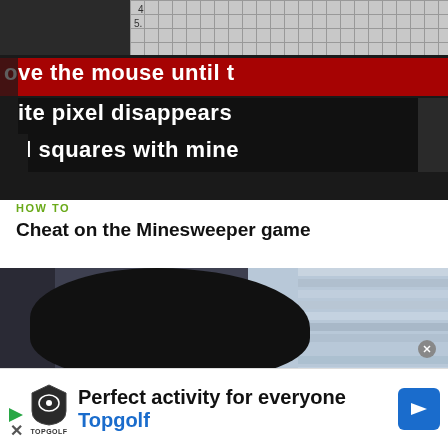[Figure (screenshot): Screenshot of Minesweeper game with text overlay showing 'ove the mouse until t', 'hite pixel disappears', 'nd squares with mine' in white bold text on dark background, red highlight on first line]
HOW TO
Cheat on the Minesweeper game
[Figure (photo): Video thumbnail showing back of person's head with large afro hairstyle, window blinds visible in background]
Perfect activity for everyone Topgolf